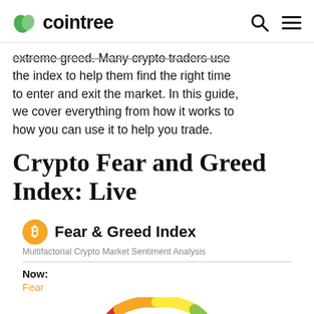cointree
extreme greed. Many crypto traders use the index to help them find the right time to enter and exit the market. In this guide, we cover everything from how it works to how you can use it to help you trade.
Crypto Fear and Greed Index: Live
[Figure (infographic): Fear & Greed Index widget header with Bitcoin icon, title 'Fear & Greed Index', subtitle 'Multifactorial Crypto Market Sentiment Analysis', divider line, 'Now:' label and 'Fear' in orange, partial gauge chart visible at bottom]
Now: Fear